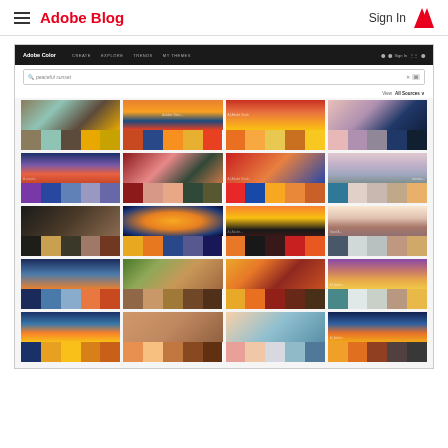Adobe Blog  Sign In
[Figure (screenshot): Adobe Color website screenshot showing search results for 'peaceful sunset' with a grid of color palettes and sunset-themed images]